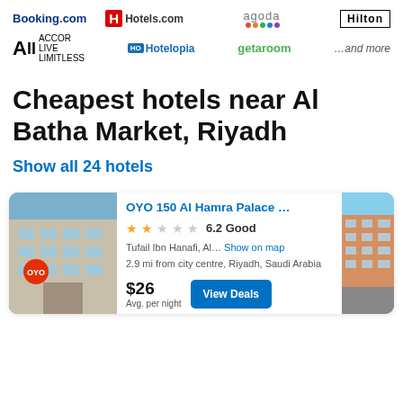[Figure (logo): Row of travel booking partner logos: Booking.com, Hotels.com, Agoda, Hilton]
[Figure (logo): Row of travel booking partner logos: ALL Accor Live Limitless, Hotelopia, getaroom, ...and more]
Cheapest hotels near Al Batha Market, Riyadh
Show all 24 hotels
[Figure (photo): Hotel card for OYO 150 Al Hamra Palace with photo of hotel building on left and another building on right. Shows 2-star rating, 6.2 Good score, address Tufail Ibn Hanafi, Al..., Show on map, 2.9 mi from city centre, Riyadh, Saudi Arabia, price $26 Avg. per night, View Deals button.]